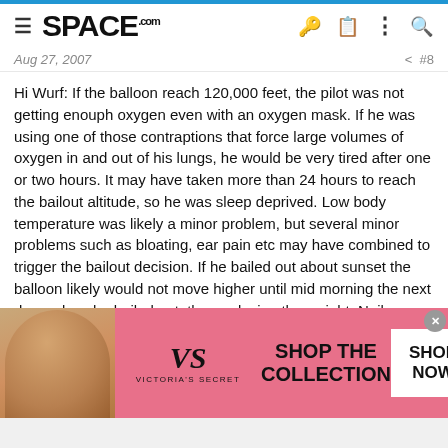SPACE.com
Aug 27, 2007   #8
Hi Wurf: If the balloon reach 120,000 feet, the pilot was not getting enouph oxygen even with an oxygen mask. If he was using one of those contraptions that force large volumes of oxygen in and out of his lungs, he would be very tired after one or two hours. It may have taken more than 24 hours to reach the bailout altitude, so he was sleep deprived. Low body temperature was likely a minor problem, but several minor problems such as bloating, ear pain etc may have combined to trigger the bailout decision. If he bailed out about sunset the balloon likely would not move higher until mid morning the next day, unless he bailed out, thus reducing the weight. Neil
3488
[Figure (photo): Victoria's Secret advertisement banner with a woman's photo, VS logo, 'SHOP THE COLLECTION' text, and 'SHOP NOW' button on a pink background]